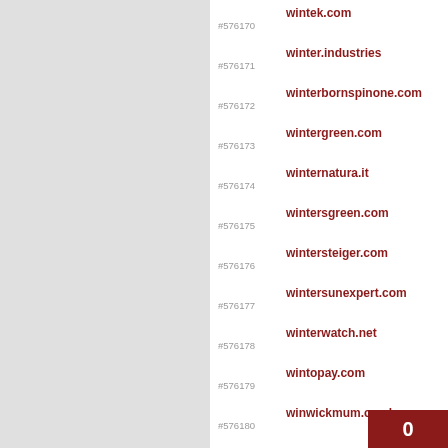#576170 wintek.com
#576171 winter.industries
#576172 winterbornspinone.com
#576173 wintergreen.com
#576174 winternatura.it
#576175 wintersgreen.com
#576176 wintersteiger.com
#576177 wintersunexpert.com
#576178 winterwatch.net
#576179 wintopay.com
#576180 winwickmum.co.uk
#576181 winyahrivers.org
#576182 wip.tumblr.com